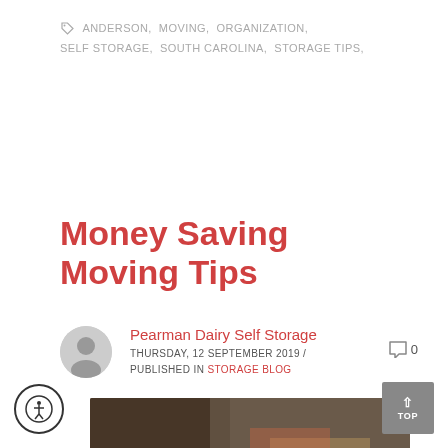ANDERSON, MOVING, ORGANIZATION, SELF STORAGE, SOUTH CAROLINA, STORAGE TIPS,
Money Saving Moving Tips
Pearman Dairy Self Storage
THURSDAY, 12 SEPTEMBER 2019 / PUBLISHED IN STORAGE BLOG
[Figure (photo): Person counting coins or piggy bank savings photo, partially visible, outdoor background]
[Figure (other): Accessibility icon button (person in circle)]
[Figure (other): TOP scroll-to-top button with upward arrow]